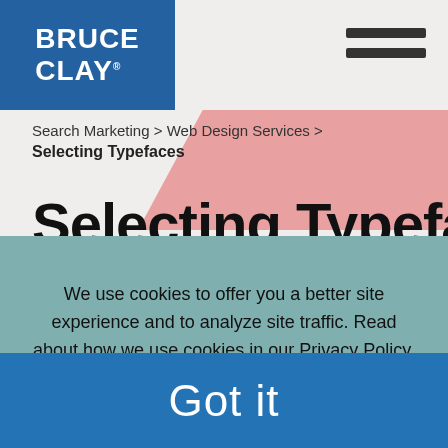Bruce Clay. (logo)
Search Marketing > Web Design Services >
Selecting Typefaces
Selecting Typefaces
We use cookies to offer you a better site experience and to analyze site traffic. Read about how we use cookies in our Privacy Policy. If you continue to use this site, you consent to our use of cookies.
Got it